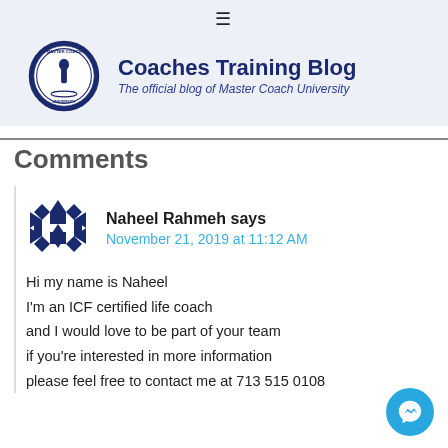Coaches Training Blog — The official blog of Master Coach University
Comments
Naheel Rahmeh says
November 21, 2019 at 11:12 AM

Hi my name is Naheel
I'm an ICF certified life coach
and I would love to be part of your team
if you're interested in more information
please feel free to contact me at 713 515 0108